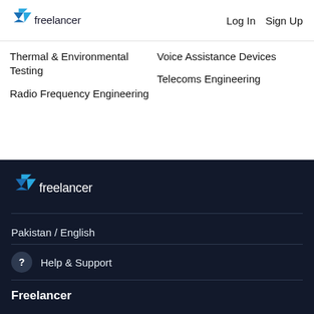[Figure (logo): Freelancer logo with blue origami bird and wordmark 'freelancer' in dark text]
Log In
Sign Up
Thermal & Environmental Testing
Radio Frequency Engineering
Voice Assistance Devices
Telecoms Engineering
[Figure (logo): Freelancer logo with blue origami bird and wordmark 'freelancer' in white text on dark background]
Pakistan / English
Help & Support
Freelancer